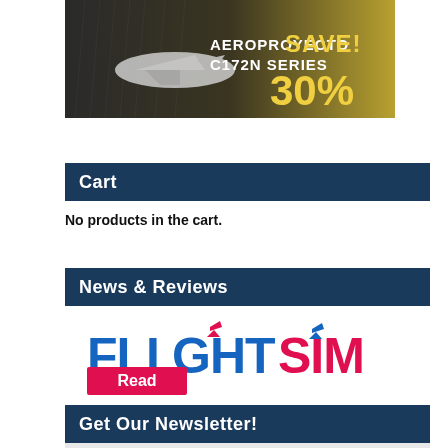[Figure (illustration): Advertisement banner for Aeroproyecto C172N Series showing a Cessna aircraft with text 'AEROPROYECTO C172N SERIES SAVE! 30%']
Cart
No products in the cart.
News & Reviews
[Figure (logo): FlightSim logo with a pink 'Read' button overlay]
Get Our Newsletter!